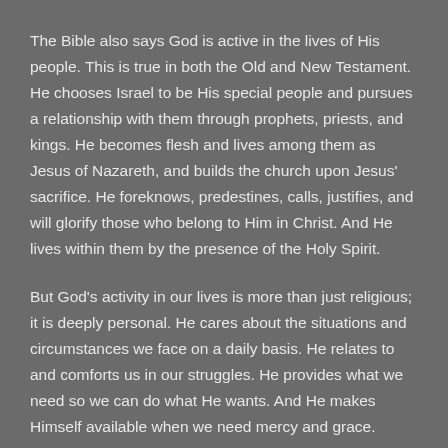The Bible also says God is active in the lives of His people. This is true in both the Old and New Testament. He chooses Israel to be His special people and pursues a relationship with them through prophets, priests, and kings. He becomes flesh and lives among them as Jesus of Nazareth, and builds the church upon Jesus' sacrifice. He foreknows, predestines, calls, justifies, and will glorify those who belong to Him in Christ. And He lives within them by the presence of the Holy Spirit.
But God's activity in our lives is more than just religious; it is deeply personal. He cares about the situations and circumstances we face on a daily basis. He relates to and comforts us in our struggles. He provides what we need so we can do what He wants. And He makes Himself available when we need mercy and grace.